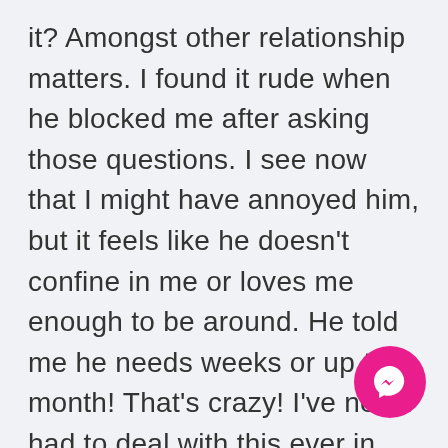it? Amongst other relationship matters. I found it rude when he blocked me after asking those questions. I see now that I might have annoyed him, but it feels like he doesn't confine in me or loves me enough to be around. He told me he needs weeks or up to a month! That's crazy! I've never had to deal with this ever in my life! And he hasn't either. I would appreciate someone's guidance on how NOT to take it personal because it really hurts my feelings how we can be best friends one day then BOOM! He drops me once again. Am I not good
[Figure (logo): Facebook Messenger icon button — circular pink/magenta button with white lightning bolt messenger logo]